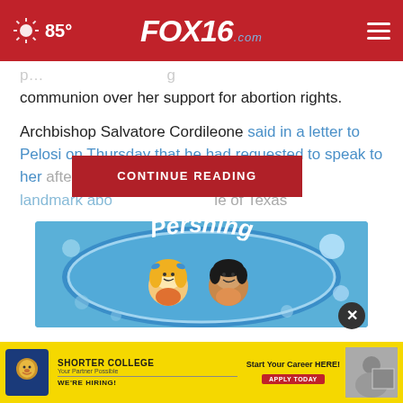85° FOX16.com
communion over her support for abortion rights.
Archbishop Salvatore Cordileone said in a letter to Pelosi on Thursday that he had requested to speak to her after she vo... de, the landmark abo... le of Texas
CONTINUE READING
[Figure (illustration): Pershing school cartoon logo with two cartoon children (blonde girl and dark-haired boy) inside a circular blue badge with 'Pershing' written in white italic text at top]
[Figure (illustration): Shorter College advertisement banner with yellow background, college lion logo, 'SHORTER COLLEGE Your Partner Possible', 'WE'RE HIRING!', 'Start Your Career HERE!', 'APPLY TODAY' button, and photo of person in background]